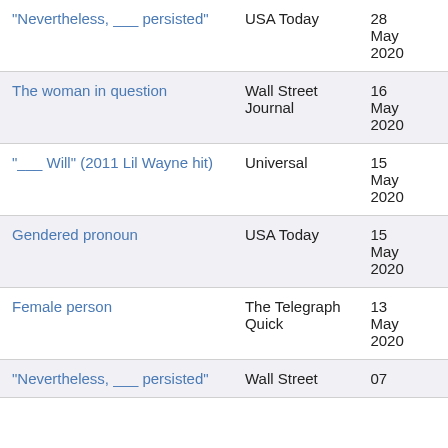| Clue/Entry | Publication | Date |
| --- | --- | --- |
| "Nevertheless, ___ persisted" | USA Today | 28 May 2020 |
| The woman in question | Wall Street Journal | 16 May 2020 |
| "___ Will" (2011 Lil Wayne hit) | Universal | 15 May 2020 |
| Gendered pronoun | USA Today | 15 May 2020 |
| Female person | The Telegraph Quick | 13 May 2020 |
| "Nevertheless, ___ persisted" | Wall Street Journal | 07 |